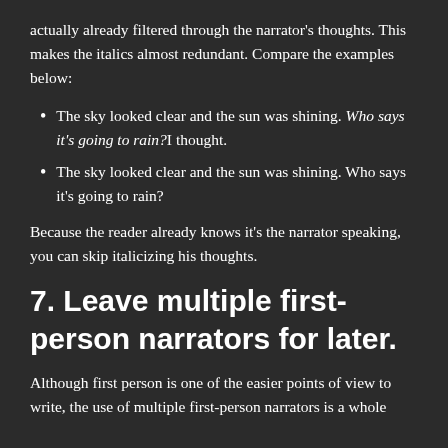actually already filtered through the narrator's thoughts. This makes the italics almost redundant. Compare the examples below:
The sky looked clear and the sun was shining. Who says it's going to rain? I thought.
The sky looked clear and the sun was shining. Who says it's going to rain?
Because the reader already knows it's the narrator speaking, you can skip italicizing his thoughts.
7. Leave multiple first-person narrators for later.
Although first person is one of the easier points of view to write, the use of multiple first-person narrators is a whole